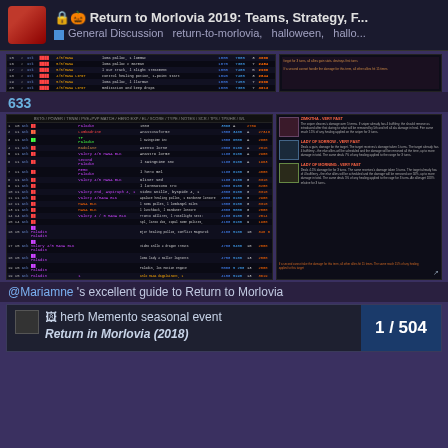Return to Morlovia 2019: Teams, Strategy, F... | General Discussion  return-to-morlovia,  halloween,  hallo...
[Figure (screenshot): Dark-themed game data table showing rows 15-20 with columns for stats, names, and scores, alongside a sidebar with game imagery]
633
[Figure (screenshot): Dark-themed game data table showing rows 1-19 with columns for level, stats, hero names, scores, and a sidebar with character portraits and skill descriptions (Zimkitha, Lady of the Lake, Lady Locke)]
@Mariamne 's excellent guide to Return to Morlovia
[Figure (screenshot): Bottom card showing herb Memento seasonal event entry with page counter 1 / 504]
Return in Morlovia (2018)